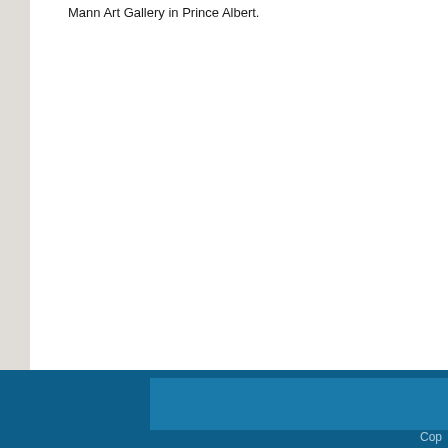Mann Art Gallery in Prince Albert.
Cop